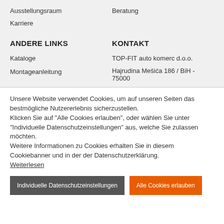Ausstellungsraum
Beratung
Karriere
ANDERE LINKS
KONTAKT
Kataloge
TOP-FIT auto komerc d.o.o.
Montageanleitung
Hajrudina Mešića 186 / BiH - 75000
Unsere Website verwendet Cookies, um auf unseren Seiten das bestmögliche Nutzererlebnis sicherzustellen. Klicken Sie auf "Alle Cookies erlauben", oder wählen Sie unter "Individuelle Datenschutzeinstellungen" aus, welche Sie zulassen möchten. Weitere Informationen zu Cookies erhalten Sie in diesem Cookiebanner und in der der Datenschutzerklärung. Weiterlesen
Individuelle Datenschutzeinstellungen
Alle Cookies erlauben